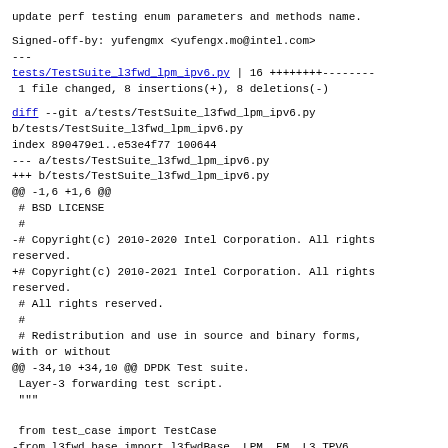update perf testing enum parameters and methods name.
Signed-off-by: yufengmx <yufengx.mo@intel.com>
---
tests/TestSuite_l3fwd_lpm_ipv6.py | 16 ++++++++--------
1 file changed, 8 insertions(+), 8 deletions(-)
diff --git a/tests/TestSuite_l3fwd_lpm_ipv6.py b/tests/TestSuite_l3fwd_lpm_ipv6.py
index 890479e1..e53e4f77 100644
--- a/tests/TestSuite_l3fwd_lpm_ipv6.py
+++ b/tests/TestSuite_l3fwd_lpm_ipv6.py
@@ -1,6 +1,6 @@
 # BSD LICENSE
 #
-# Copyright(c) 2010-2020 Intel Corporation. All rights reserved.
+# Copyright(c) 2010-2021 Intel Corporation. All rights reserved.
 # All rights reserved.
 #
 # Redistribution and use in source and binary forms, with or without
@@ -34,10 +34,10 @@ DPDK Test suite.
 Layer-3 forwarding test script.
 """

from test_case import TestCase
-from l3fwd_base import l3fwdBase, LPM, FM, L3_TPV6.